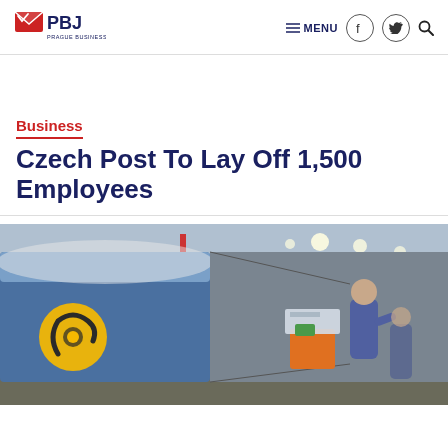[Figure (logo): PBJ Prague Business Journal logo with red and blue envelope icon and bold PBJ text]
≡ MENU  f  𝕏  🔍
Business
Czech Post To Lay Off 1,500 Employees
[Figure (photo): Interior of a postal sorting facility showing a blue van/truck with yellow Czech Post horn logo, workers in blue uniforms handling packages on a cart, industrial ceiling with lights and red structural beams]